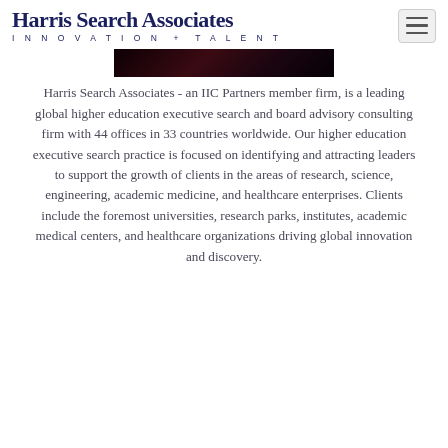Harris Search Associates INNOVATION + TALENT
[Figure (photo): Dark photo strip, partially visible image with dark reddish tones]
Harris Search Associates - an IIC Partners member firm, is a leading global higher education executive search and board advisory consulting firm with 44 offices in 33 countries worldwide. Our higher education executive search practice is focused on identifying and attracting leaders to support the growth of clients in the areas of research, science, engineering, academic medicine, and healthcare enterprises. Clients include the foremost universities, research parks, institutes, academic medical centers, and healthcare organizations driving global innovation and discovery.